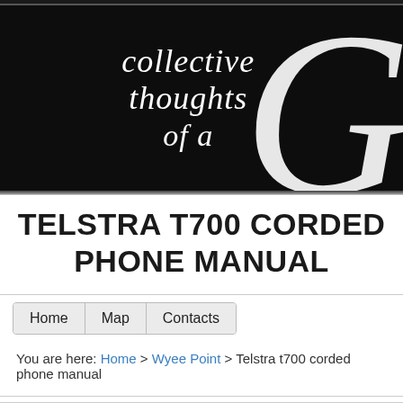[Figure (illustration): Black banner header with italic calligraphic script text reading 'collective thoughts of a' in white, and a large decorative white letter G on the right side]
TELSTRA T700 CORDED PHONE MANUAL
Home  Map  Contacts
You are here: Home > Wyee Point > Telstra t700 corded phone manual